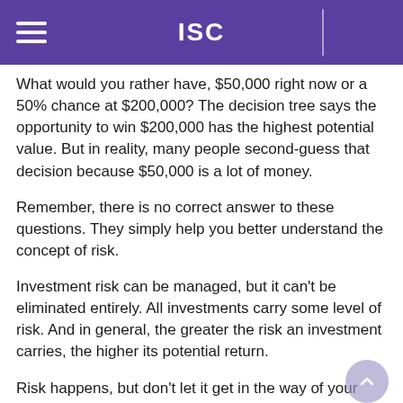ISC
What would you rather have, $50,000 right now or a 50% chance at $200,000? The decision tree says the opportunity to win $200,000 has the highest potential value. But in reality, many people second-guess that decision because $50,000 is a lot of money.
Remember, there is no correct answer to these questions. They simply help you better understand the concept of risk.
Investment risk can be managed, but it can't be eliminated entirely. All investments carry some level of risk. And in general, the greater the risk an investment carries, the higher its potential return.
Risk happens, but don't let it get in the way of your dreams. Ultimately, these concerns should only serve to inform you